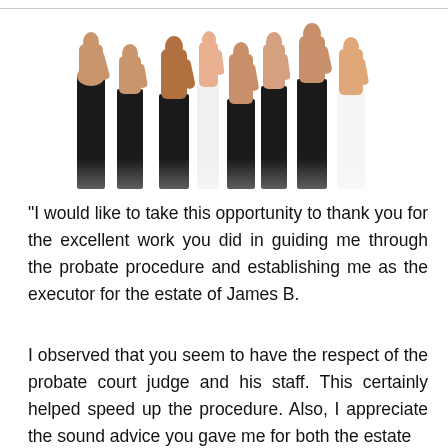[Figure (photo): Multiple hands with thumbs up raised in the air, people dressed in business attire, white background]
“I would like to take this opportunity to thank you for the excellent work you did in guiding me through the probate procedure and establishing me as the executor for the estate of James B.
I observed that you seem to have the respect of the probate court judge and his staff. This certainly helped speed up the procedure. Also, I appreciate the sound advice you gave me for both the estate